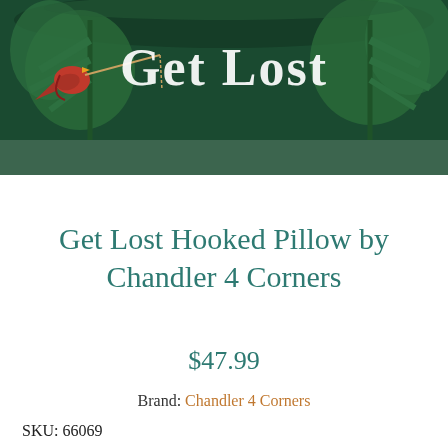[Figure (photo): Close-up photo of a dark green hooked pillow with white text reading 'Get Lost' and decorative bird and foliage motifs in red, green, and cream colored yarn]
Get Lost Hooked Pillow by Chandler 4 Corners
$47.99
Brand: Chandler 4 Corners
SKU: 66069